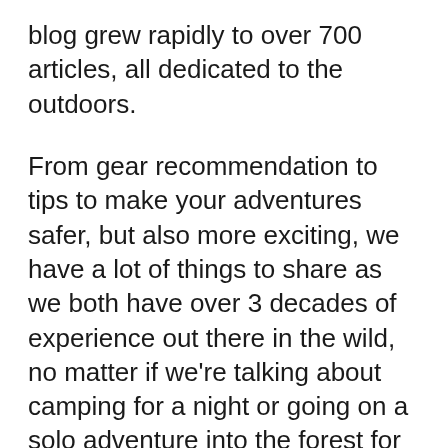blog grew rapidly to over 700 articles, all dedicated to the outdoors.
From gear recommendation to tips to make your adventures safer, but also more exciting, we have a lot of things to share as we both have over 3 decades of experience out there in the wild, no matter if we’re talking about camping for a night or going on a solo adventure into the forest for a week.
Here at My Outdoors Life we continue to bring you the best advice you’ll ever need.
Learn more about the blog’s co-owners and